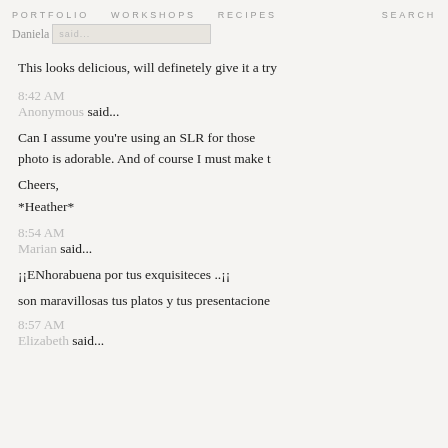PORTFOLIO   WORKSHOPS   RECIPES   Daniela said...   SEARCH
This looks delicious, will definetely give it a try
8:42 AM
Anonymous said...
Can I assume you're using an SLR for those photo is adorable. And of course I must make t
Cheers,
*Heather*
8:54 AM
Marian said...
¡¡ENhorabuena por tus exquisiteces ..¡¡
son maravillosas tus platos y tus presentacione
8:57 AM
Elizabeth said...